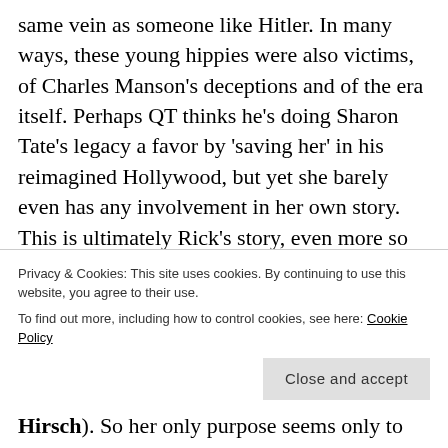same vein as someone like Hitler. In many ways, these young hippies were also victims, of Charles Manson's deceptions and of the era itself. Perhaps QT thinks he's doing Sharon Tate's legacy a favor by 'saving her' in his reimagined Hollywood, but yet she barely even has any involvement in her own story. This is ultimately Rick's story, even more so than Cliff 's even though Leo and Brad have a pretty equal screen time. When the violent
Privacy & Cookies: This site uses cookies. By continuing to use this website, you agree to their use.
To find out more, including how to control cookies, see here: Cookie Policy
Hirsch). So her only purpose seems only to